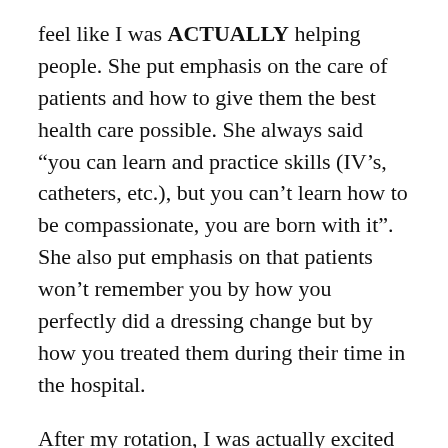feel like I was ACTUALLY helping people. She put emphasis on the care of patients and how to give them the best health care possible. She always said “you can learn and practice skills (IV’s, catheters, etc.), but you can’t learn how to be compassionate, you are born with it”. She also put emphasis on that patients won’t remember you by how you perfectly did a dressing change but by how you treated them during their time in the hospital.
After my rotation, I was actually excited to finish and felt like I actually could. So, I am so glad that I got back onto the horse.